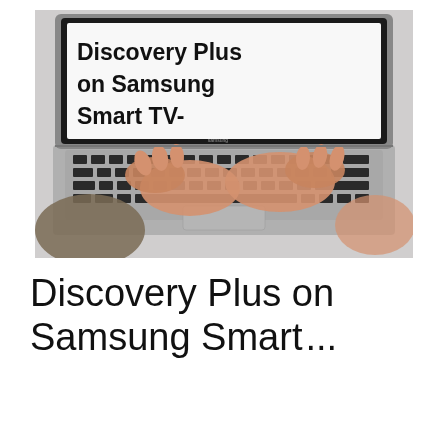[Figure (photo): Person typing on a MacBook laptop. The laptop screen displays bold text reading 'Discovery Plus on Samsung Smart TV-'. Two hands are visible on the keyboard and trackpad area.]
Discovery Plus on Samsung Smart...